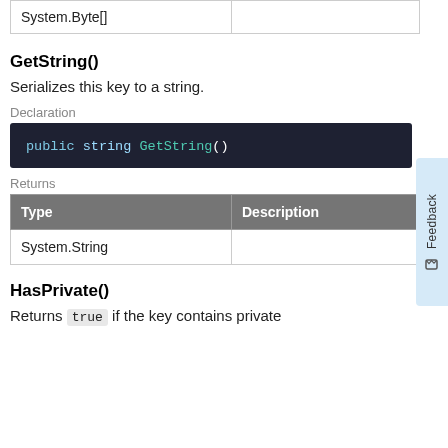| Type | Description |
| --- | --- |
| System.Byte[] |  |
GetString()
Serializes this key to a string.
Declaration
public string GetString()
Returns
| Type | Description |
| --- | --- |
| System.String |  |
HasPrivate()
Returns true if the key contains private information.